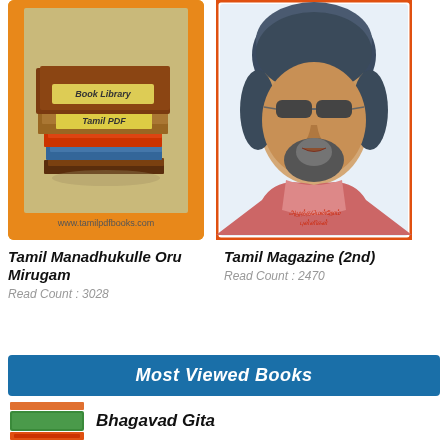[Figure (illustration): Book cover for Tamil Manadhukulle Oru Mirugam - shows a stack of books with text 'Tamil PDF Book Library' and URL www.tamilpdfbooks.com, orange border background]
Tamil Manadhukulle Oru Mirugam
Read Count : 3028
[Figure (illustration): Book cover for Tamil Magazine (2nd) - shows a pencil sketch portrait of a man with sunglasses and beard, Tamil text inscription, orange border]
Tamil Magazine (2nd)
Read Count : 2470
Most Viewed Books
[Figure (illustration): Small book cover thumbnail for Bhagavad Gita - orange and green colored book]
Bhagavad Gita